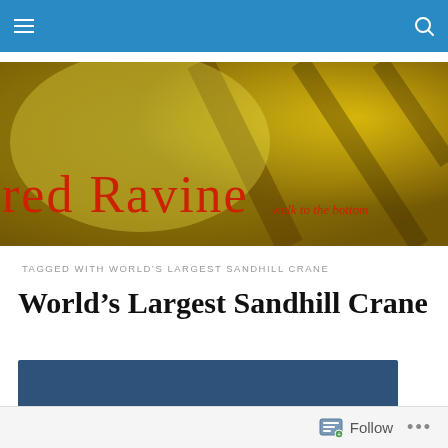Navigation bar with hamburger menu and search icon
[Figure (photo): Red Ravine blog banner with yellow blurred background and red serif text reading 'red Ravine' with tagline 'walk to the bottom']
TAGGED WITH WORLD'S LARGEST SANDHILL CRANE
World's Largest Sandhill Crane
[Figure (photo): Article featured image with dark blue background, partially visible]
Follow ...